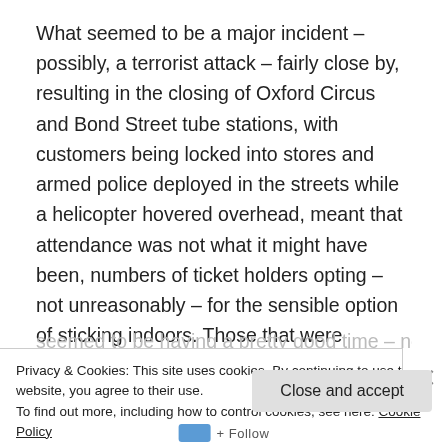What seemed to be a major incident – possibly, a terrorist attack – fairly close by, resulting in the closing of Oxford Circus and Bond Street tube stations, with customers being locked into stores and armed police deployed in the streets while a helicopter hovered overhead, meant that attendance was not what it might have been, numbers of ticket holders opting – not unreasonably – for the sensible option of sticking indoors. Those that were present, however,
seemed to be having a pretty good time – not
Privacy & Cookies: This site uses cookies. By continuing to use this website, you agree to their use.
To find out more, including how to control cookies, see here: Cookie Policy
Close and accept